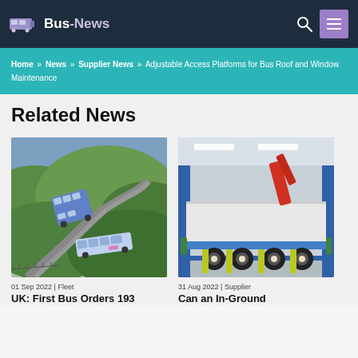Bus-News
Home » News » Supplier News » Adjustable Access Platforms for Bus Roof and Window Maintenance
Related News
[Figure (photo): Aerial view of a double-decker and single-decker bus travelling on a winding road through green rolling hills]
01 Sep 2022 | Fleet
UK: First Bus Orders 193
[Figure (photo): A large truck or vehicle with crane arm raised, positioned on a vehicle lift inside an industrial garage or workshop]
31 Aug 2022 | Supplier
Can an In-Ground